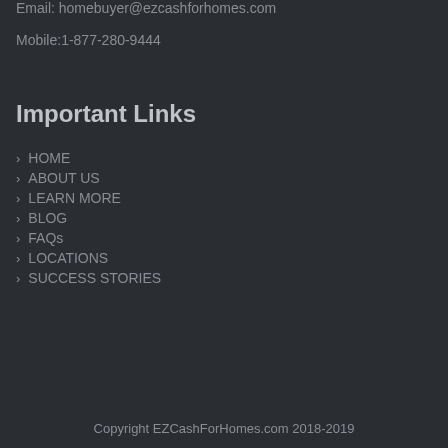Email: homebuyer@ezcashforhomes.com
Mobile:1-877-280-9444
Important Links
HOME
ABOUT US
LEARN MORE
BLOG
FAQs
LOCATIONS
SUCCESS STORIES
Copyright EZCashForHomes.com 2018-2019